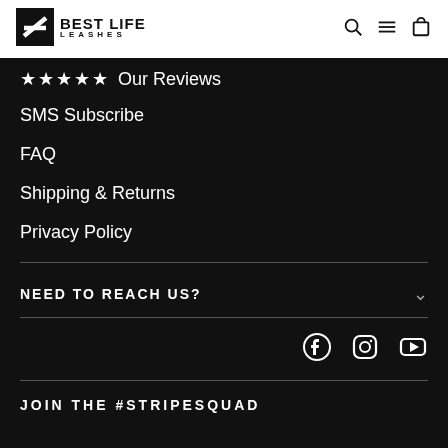Best Life Leashes
★★★★★ Our Reviews
SMS Subscribe
FAQ
Shipping & Returns
Privacy Policy
NEED TO REACH US?
[Figure (other): Social media icons: Facebook, Instagram, YouTube]
JOIN THE #STRIPESQUAD